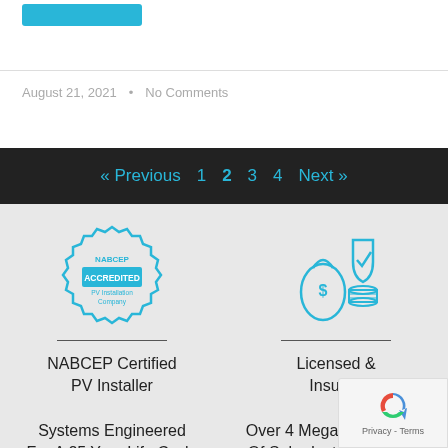[Figure (other): Blue button at top of page]
August 21, 2021  •  No Comments
« Previous  1  2  3  4  Next »
[Figure (logo): NABCEP Accredited PV Installation Company badge in teal/blue]
NABCEP Certified PV Installer
[Figure (illustration): Licensed and insured icon showing money bag and shield with checkmark]
Licensed & Insured
Systems Engineered For A 25 Year Life Cycle
Over 4 Megawa... Of Solar Installed